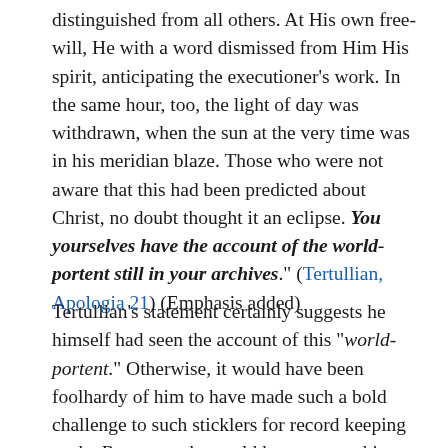distinguished from all others. At His own free-will, He with a word dismissed from Him His spirit, anticipating the executioner's work. In the same hour, too, the light of day was withdrawn, when the sun at the very time was in his meridian blaze. Those who were not aware that this had been predicted about Christ, no doubt thought it an eclipse. You yourselves have the account of the world-portent still in your archives." (Tertullian, Apologia 21) (Emphasis added)
Tertullian's statement certainly suggests he himself had seen the account of this "world-portent." Otherwise, it would have been foolhardy of him to have made such a bold challenge to such sticklers for record keeping as the Romans, who could have proven him wrong. It is also